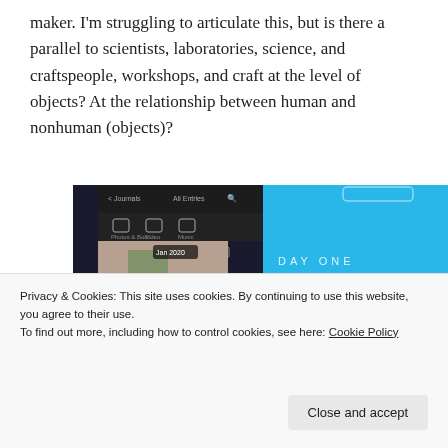maker. I'm struggling to articulate this, but is there a parallel to scientists, laboratories, science, and craftspeople, workshops, and craft at the level of objects? At the relationship between human and nonhuman (objects)?
[Figure (screenshot): Day One app advertisement showing a phone screen with journal entries (photos, dates including Jan 2020, numbers 05) on the left, and a blue background on the right with 'DAY ONE' text, 'Your Journal for life' heading, and a 'Get the app' button.]
Privacy & Cookies: This site uses cookies. By continuing to use this website, you agree to their use.
To find out more, including how to control cookies, see here: Cookie Policy
Close and accept